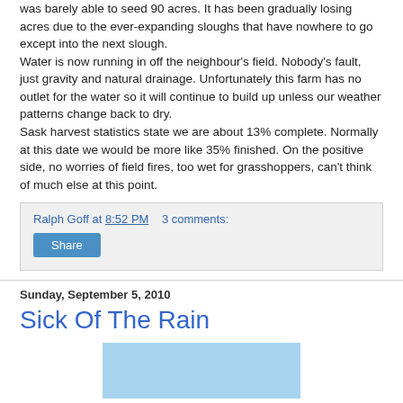was barely able to seed 90 acres. It has been gradually losing acres due to the ever-expanding sloughs that have nowhere to go except into the next slough.
Water is now running in off the neighbour's field. Nobody's fault, just gravity and natural drainage. Unfortunately this farm has no outlet for the water so it will continue to build up unless our weather patterns change back to dry.
Sask harvest statistics state we are about 13% complete. Normally at this date we would be more like 35% finished. On the positive side, no worries of field fires, too wet for grasshoppers, can't think of much else at this point.
Ralph Goff at 8:52 PM   3 comments:
Share
Sunday, September 5, 2010
Sick Of The Rain
[Figure (photo): Partial blue image visible at bottom of page]